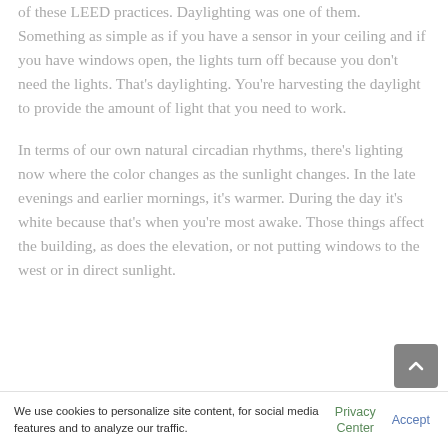of these LEED practices. Daylighting was one of them. Something as simple as if you have a sensor in your ceiling and if you have windows open, the lights turn off because you don't need the lights. That's daylighting. You're harvesting the daylight to provide the amount of light that you need to work.
In terms of our own natural circadian rhythms, there's lighting now where the color changes as the sunlight changes. In the late evenings and earlier mornings, it's warmer. During the day it's white because that's when you're most awake. Those things affect the building, as does the elevation, or not putting windows to the west or in direct sunlight.
We use cookies to personalize site content, for social media features and to analyze our traffic.